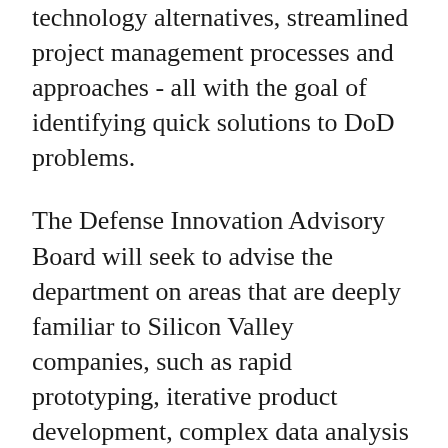technology alternatives, streamlined project management processes and approaches - all with the goal of identifying quick solutions to DoD problems.
The Defense Innovation Advisory Board will seek to advise the department on areas that are deeply familiar to Silicon Valley companies, such as rapid prototyping, iterative product development, complex data analysis in business decision making, the use of mobile and cloud applications, and organizational information sharing.
The board will not engage in discussion of military operations or strategy.